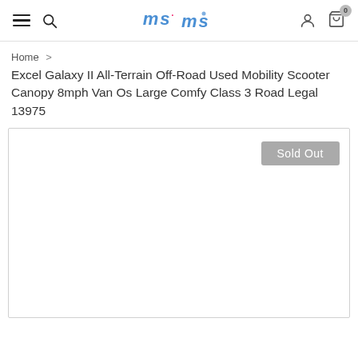ms (logo) — navigation header with hamburger menu, search, account, and cart icons
Home > Excel Galaxy II All-Terrain Off-Road Used Mobility Scooter Canopy 8mph Van Os Large Comfy Class 3 Road Legal 13975
Excel Galaxy II All-Terrain Off-Road Used Mobility Scooter Canopy 8mph Van Os Large Comfy Class 3 Road Legal 13975
[Figure (other): Product image area with 'Sold Out' badge, image content is blank/white]